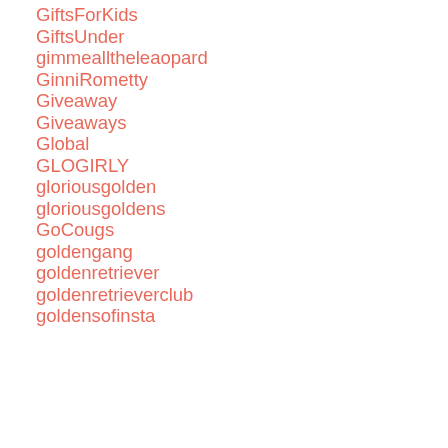GiftsForKids
GiftsUnder
gimmealltheleaopard
GinniRometty
Giveaway
Giveaways
Global
GLOGIRLY
gloriousgolden
gloriousgoldens
GoCougs
goldengang
goldenretriever
goldenretrieverclub
goldensofinsta